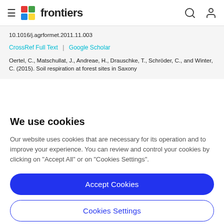frontiers
10.1016/j.agrformet.2011.11.003
CrossRef Full Text | Google Scholar
Oertel, C., Matschullat, J., Andreae, H., Drauschke, T., Schröder, C., and Winter, C. (2015). Soil respiration at forest sites in Saxony
We use cookies
Our website uses cookies that are necessary for its operation and to improve your experience. You can review and control your cookies by clicking on "Accept All" or on "Cookies Settings".
Accept Cookies
Cookies Settings